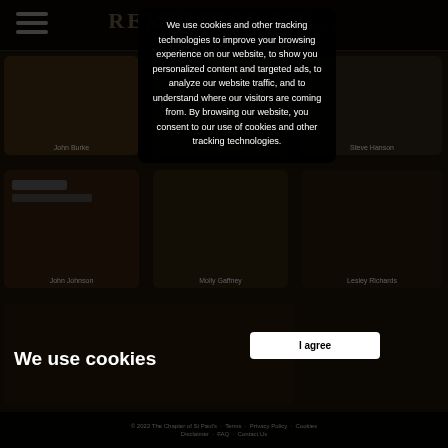REMEMBER ME...
[Figure (screenshot): Website background showing a grid of person photo cards (John Burke, Arthur Romans, Steve Hanson, John Johnson, Molly Gaffney, Lesley Richards, and others) with a dark overlay]
We use cookies
We use cookies and other tracking technologies to improve your browsing experience on our website, to show you personalized content and targeted ads, to analyze our website traffic, and to understand where our visitors are coming from. By browsing our website, you consent to our use of cookies and other tracking technologies.
I agree
© 2022 The Chapter of St Paul's · Terms · Privacy Policy · Cookies · Disclaimer · FAQ · Contact Us